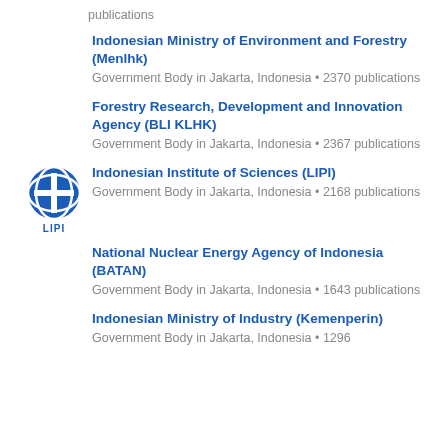publications
Indonesian Ministry of Environment and Forestry (Menlhk)
Government Body in Jakarta, Indonesia • 2370 publications
Forestry Research, Development and Innovation Agency (BLI KLHK)
Government Body in Jakarta, Indonesia • 2367 publications
Indonesian Institute of Sciences (LIPI)
Government Body in Jakarta, Indonesia • 2168 publications
National Nuclear Energy Agency of Indonesia (BATAN)
Government Body in Jakarta, Indonesia • 1643 publications
Indonesian Ministry of Industry (Kemenperin)
Government Body in Jakarta, Indonesia • 1296